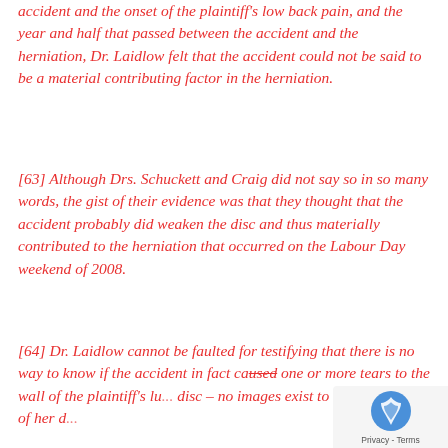accident and the onset of the plaintiff's low back pain, and the year and half that passed between the accident and the herniation, Dr. Laidlow felt that the accident could not be said to be a material contributing factor in the herniation.
[63] Although Drs. Schuckett and Craig did not say so in so many words, the gist of their evidence was that they thought that the accident probably did weaken the disc and thus materially contributed to the herniation that occurred on the Labour Day weekend of 2008.
[64] Dr. Laidlow cannot be faulted for testifying that there is no way to know if the accident in fact caused one or more tears to the wall of the plaintiff's lu... disc – no images exist to show the state of her d...